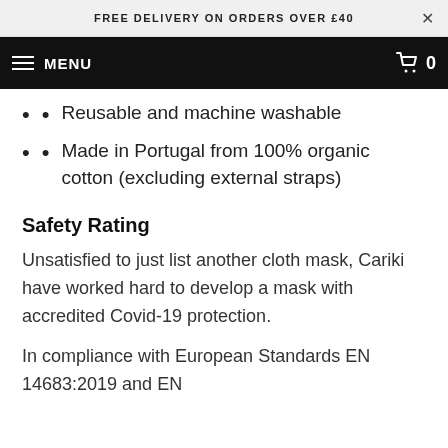FREE DELIVERY ON ORDERS OVER £40
MENU
Reusable and machine washable
Made in Portugal from 100% organic cotton (excluding external straps)
Safety Rating
Unsatisfied to just list another cloth mask, Cariki have worked hard to develop a mask with accredited Covid-19 protection.
In compliance with European Standards EN 14683:2019 and EN